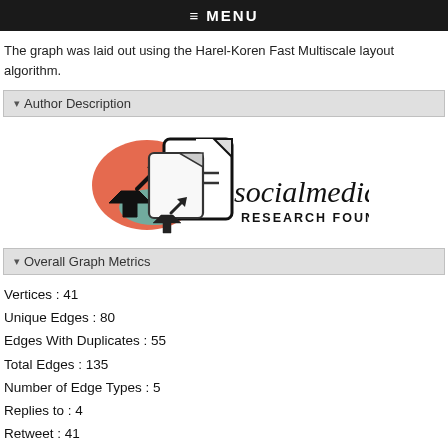≡ MENU
The graph was laid out using the Harel-Koren Fast Multiscale layout algorithm.
▾ Author Description
[Figure (logo): Social Media Research Foundation logo with stylized document/arrow icon and italic 'socialmedia' text with 'RESEARCH FOUNDATION' below]
▾ Overall Graph Metrics
Vertices : 41
Unique Edges : 80
Edges With Duplicates : 55
Total Edges : 135
Number of Edge Types : 5
Replies to : 4
Retweet : 41
Mentions : 22